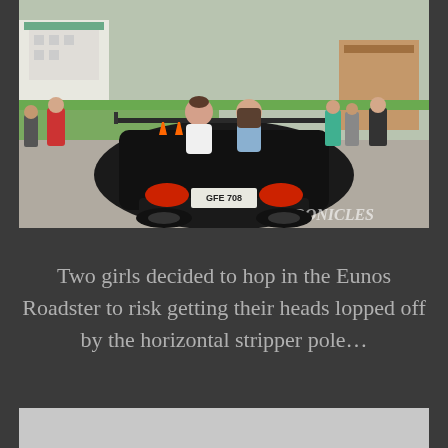[Figure (photo): Rear view of a black Mazda Eunos Roadster (Miata) convertible with a large horizontal wing/spoiler, license plate GFE 708, two girls sitting in the car without a roof, at what appears to be a car meet in Japan. People and buildings visible in the background. Watermark 'CHRONICLES' in bottom right corner.]
Two girls decided to hop in the Eunos Roadster to risk getting their heads lopped off by the horizontal stripper pole…
[Figure (photo): Partially visible image at bottom of page, light grey/white tones]